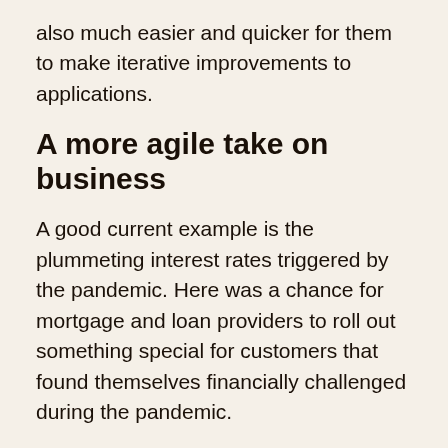also much easier and quicker for them to make iterative improvements to applications.
A more agile take on business
A good current example is the plummeting interest rates triggered by the pandemic. Here was a chance for mortgage and loan providers to roll out something special for customers that found themselves financially challenged during the pandemic.
Historically, gearing up for peak demand for borrowing would have required advance warning, exceptional resourcing and staff training. Many Financial Services (FS) firms were simply not agile enough to move as quickly as required. Those FS